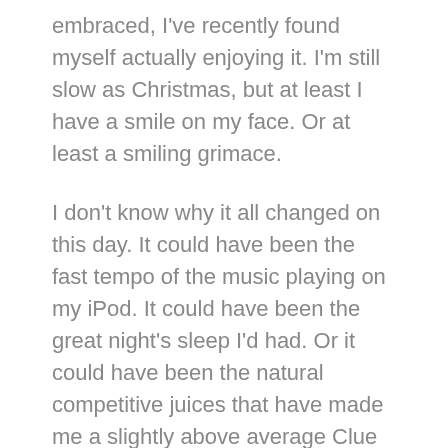embraced, I've recently found myself actually enjoying it. I'm still slow as Christmas, but at least I have a smile on my face. Or at least a smiling grimace.
I don't know why it all changed on this day. It could have been the fast tempo of the music playing on my iPod. It could have been the great night's sleep I'd had. Or it could have been the natural competitive juices that have made me a slightly above average Clue and Battleship board game player. Whatever the reason, as the other runner entered my field of vision, it was obvious to me that the alternating flash of the runner's heels was a not-so-subtle rebuke of my running style and speed. The gauntlet had been thrown down, and I accepted the challenge. I would overtake this new-found adversary, and my